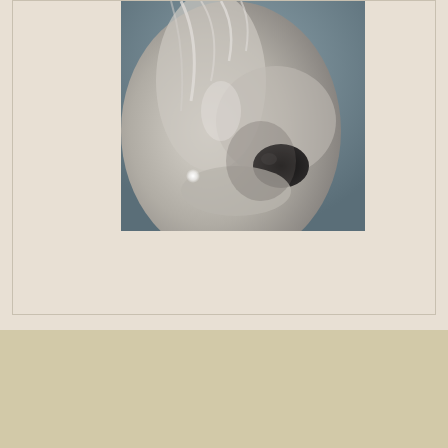[Figure (photo): Close-up black and white photograph of a white horse's nose and muzzle area, with flowing mane visible and a small bright light reflection on the lower left area of the horse's face. Background is a muted blue-grey.]
Copyright © 2022 Annette Israel. All Rights Reserved.
Developed by FlexD Media LLC.